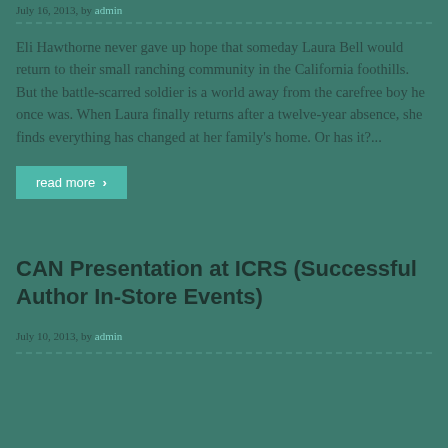July 16, 2013, by admin
Eli Hawthorne never gave up hope that someday Laura Bell would return to their small ranching community in the California foothills. But the battle-scarred soldier is a world away from the carefree boy he once was. When Laura finally returns after a twelve-year absence, she finds everything has changed at her family's home. Or has it?...
read more ›
CAN Presentation at ICRS (Successful Author In-Store Events)
July 10, 2013, by admin